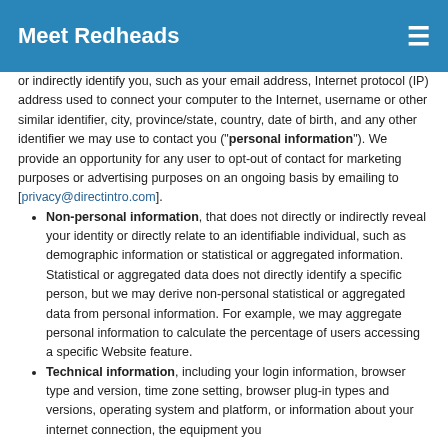Meet Redheads
or indirectly identify you, such as your email address, Internet protocol (IP) address used to connect your computer to the Internet, username or other similar identifier, city, province/state, country, date of birth, and any other identifier we may use to contact you ("personal information"). We provide an opportunity for any user to opt-out of contact for marketing purposes or advertising purposes on an ongoing basis by emailing to [privacy@directintro.com].
Non-personal information, that does not directly or indirectly reveal your identity or directly relate to an identifiable individual, such as demographic information or statistical or aggregated information. Statistical or aggregated data does not directly identify a specific person, but we may derive non-personal statistical or aggregated data from personal information. For example, we may aggregate personal information to calculate the percentage of users accessing a specific Website feature.
Technical information, including your login information, browser type and version, time zone setting, browser plug-in types and versions, operating system and platform, or information about your internet connection, the equipment you